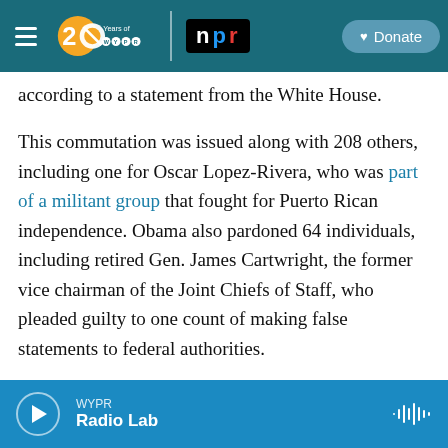WYPR 20 Years of WYPR | npr | Donate
according to a statement from the White House.
This commutation was issued along with 208 others, including one for Oscar Lopez-Rivera, who was part of a militant group that fought for Puerto Rican independence. Obama also pardoned 64 individuals, including retired Gen. James Cartwright, the former vice chairman of the Joint Chiefs of Staff, who pleaded guilty to one count of making false statements to federal authorities.
Manning, a transgender woman formerly known as Bradley, had requested clemency from Obama and
WYPR Radio Lab